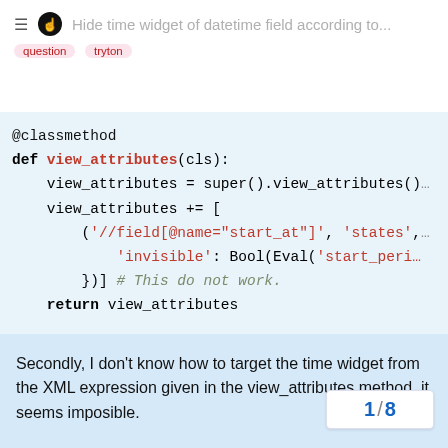Hide time widget of datetime field according to...
[Figure (screenshot): Code block showing @classmethod def view_attributes(cls): with view_attributes = super().view_attributes(), view_attributes += [('//field[@name="start_at"]', 'states', {'invisible': Bool(Eval('start_perio...})] # This do not work. return view_attributes]
Secondly, I don't know how to target the time widget from the XML expression given in the view_attributes method, it seems imposible.
[Figure (screenshot): Second code block showing @classmethod def view_attributes(cls): view_attributes = super().vi...ttributes() view_attributes += [ ('//field[@name="start...]
1 / 8